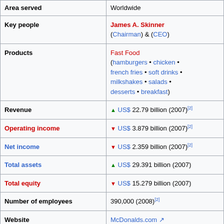| Field | Value |
| --- | --- |
| Area served | Worldwide |
| Key people | James A. Skinner (Chairman) & (CEO) |
| Products | Fast Food (hamburgers • chicken • french fries • soft drinks • milkshakes • salads • desserts • breakfast) |
| Revenue | ▲ US$ 22.79 billion (2007)[2] |
| Operating income | ▼ US$ 3.879 billion (2007)[2] |
| Net income | ▼ US$ 2.359 billion (2007)[2] |
| Total assets | ▲ US$ 29.391 billion (2007) |
| Total equity | ▼ US$ 15.279 billion (2007) |
| Number of employees | 390,000 (2008)[2] |
| Website | McDonalds.com ↗ |